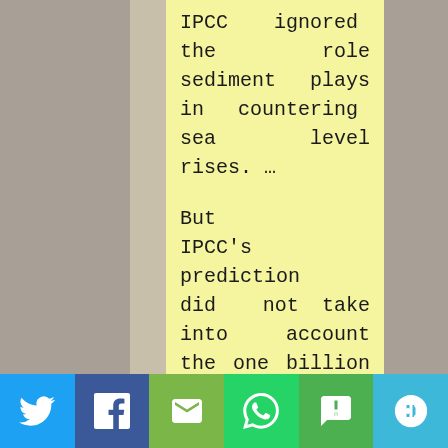IPCC ignored the role sediment plays in countering sea level rises. …

But IPCC's prediction did not take into account the one billion tonnes of sediment carried by Himalayan rivers into Bangladesh every year, which are crucial in countering rises in sea levels, the study funded by
[Figure (other): Social sharing bar with Twitter, Facebook, Email, WhatsApp, SMS, and More buttons]